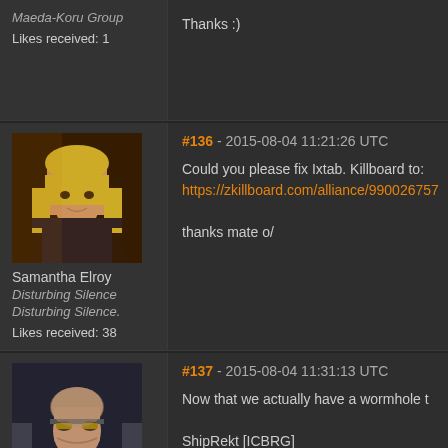Maeda-Koru Group
Likes received: 1
Thanks :)
[Figure (photo): Avatar of Samantha Elroy - blonde female character in dark clothing with fiery background]
Samantha Elroy
Disturbing Silence
Disturbing Silence.
Likes received: 38
#136 - 2015-08-04 11:21:26 UTC
Could you please fix Ixtab. Killboard to:
https://zkillboard.com/alliance/99002675
thanks mate o/
[Figure (photo): Avatar of a bald man with sunglasses in dark clothing]
#137 - 2015-08-04 11:31:13 UTC
Now that we actually have a wormhole t
ShipRekt [ICBRG]
EU and potentially US PvP corporation
Contact: Jezza McWaffle
Public Channel: ShipRekt